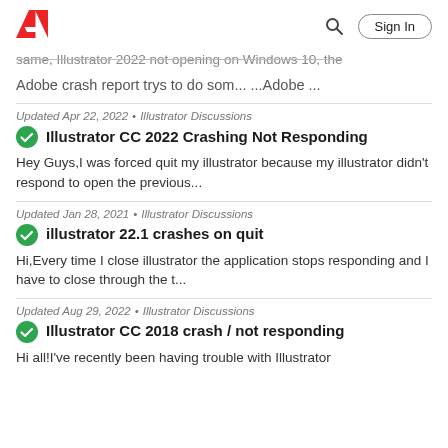Adobe logo | Search | Sign In
same, Illustrator 2022 not opening on Windows 10, the Adobe crash report trys to do som... ...Adobe ...
Updated Apr 22, 2022 • Illustrator Discussions
Illustrator CC 2022 Crashing Not Responding
Hey Guys,I was forced quit my illustrator because my illustrator didn't respond to open the previous...
Updated Jan 28, 2021 • Illustrator Discussions
illustrator 22.1 crashes on quit
Hi,Every time I close illustrator the application stops responding and I have to close through the t...
Updated Aug 29, 2022 • Illustrator Discussions
Illustrator CC 2018 crash / not responding
Hi all!I've recently been having trouble with Illustrator